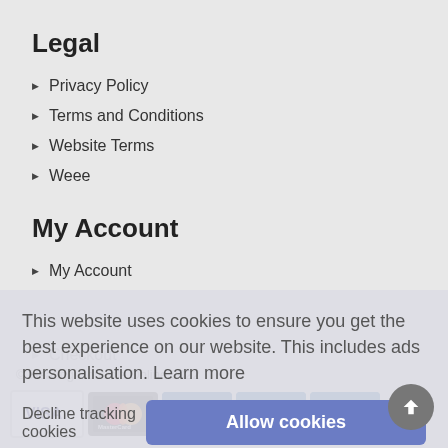Legal
Privacy Policy
Terms and Conditions
Website Terms
Weee
My Account
My Account
Checkout
This website uses cookies to ensure you get the best experience on our website. This includes ads personalisation.  Learn more
Decline tracking cookies
Allow cookies
© Heating Controls Online 2022
[Figure (other): Payment logos: VISA, MasterCard, VISA ELECTRON, VISA DEBIT, Maestro]